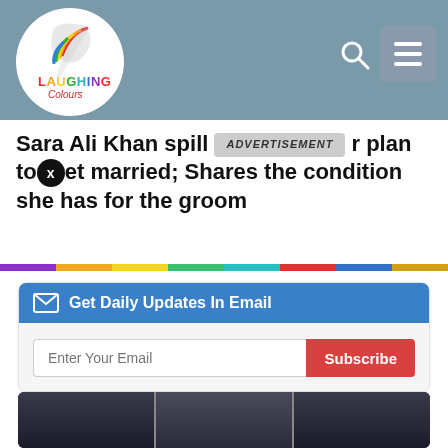[Figure (logo): Laughing Colours logo — colorful bird/quill mark above the text LAUGHING in multicolor and Colours in red, inside a white circle on a gray-blue header bar]
Sara Ali Khan spills her plan to get married; Shares the condition she has for the groom
Get Daily Updates In Email
Enter Your Email
Subscribe
[Figure (photo): Dark photo strip showing Sara Ali Khan's face in three panel segments at the bottom of the page]